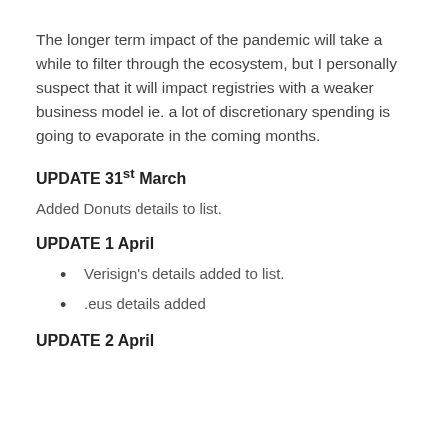The longer term impact of the pandemic will take a while to filter through the ecosystem, but I personally suspect that it will impact registries with a weaker business model ie. a lot of discretionary spending is going to evaporate in the coming months.
UPDATE 31st March
Added Donuts details to list.
UPDATE 1 April
Verisign's details added to list.
.eus details added
UPDATE 2 April